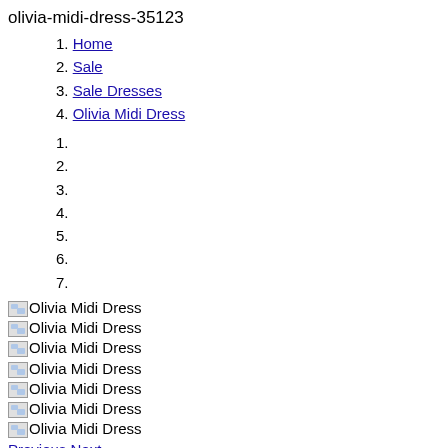olivia-midi-dress-35123
1. Home
2. Sale
3. Sale Dresses
4. Olivia Midi Dress
1.
2.
3.
4.
5.
6.
7.
[Figure (photo): Olivia Midi Dress image 1 (broken)]
[Figure (photo): Olivia Midi Dress image 2 (broken)]
[Figure (photo): Olivia Midi Dress image 3 (broken)]
[Figure (photo): Olivia Midi Dress image 4 (broken)]
[Figure (photo): Olivia Midi Dress image 5 (broken)]
[Figure (photo): Olivia Midi Dress image 6 (broken)]
[Figure (photo): Olivia Midi Dress image 7 (broken)]
Previous Next
RESPONSIBLE